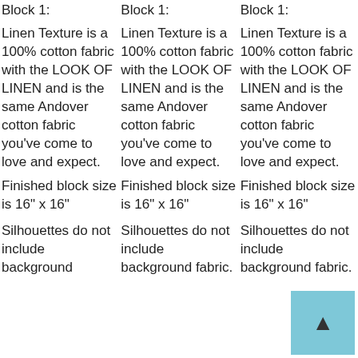Block 1:   Block 1:   Block 1:
Linen Texture is a 100% cotton fabric with the LOOK OF LINEN and is the same Andover cotton fabric you've come to love and expect. (x3 columns)
Finished block size is 16" x 16" (x3 columns)
Silhouettes do not include background fabric. (x3 columns)